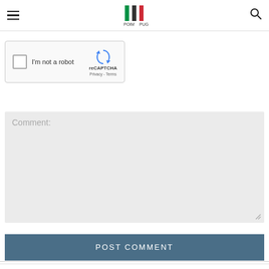Navigation bar with hamburger menu, logo (POIM PUG with Italian flag colors), and search icon
[Figure (screenshot): reCAPTCHA widget with checkbox labeled 'I'm not a robot', reCAPTCHA logo, Privacy and Terms links]
Comment:
POST COMMENT